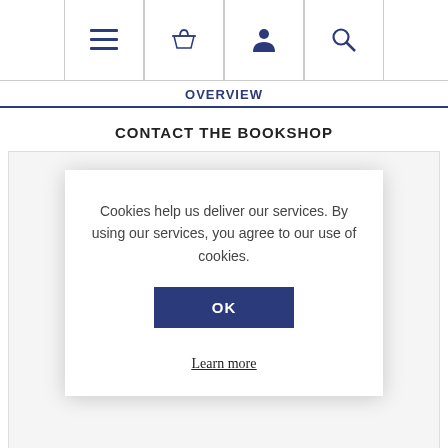Navigation icons: menu, basket, account, search
OVERVIEW
CONTACT THE BOOKSHOP
For ... the a... n s... o
Cookies help us deliver our services. By using our services, you agree to our use of cookies.
OK
Learn more
My Mother attracted unusual people and events to her, and she made things happen....